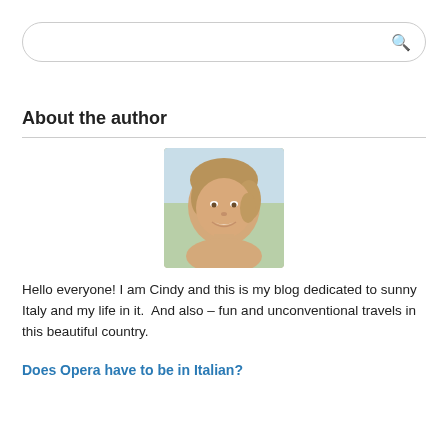[Figure (other): Search box with rounded border and magnifying glass icon]
About the author
[Figure (photo): Portrait photo of a smiling young woman with light brown hair pulled back, outdoors with green background]
Hello everyone! I am Cindy and this is my blog dedicated to sunny Italy and my life in it.  And also – fun and unconventional travels in this beautiful country.
Does Opera have to be in Italian?